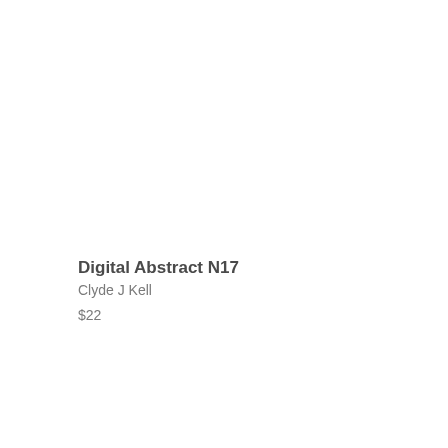Digital Abstract N17
Clyde J Kell
$22